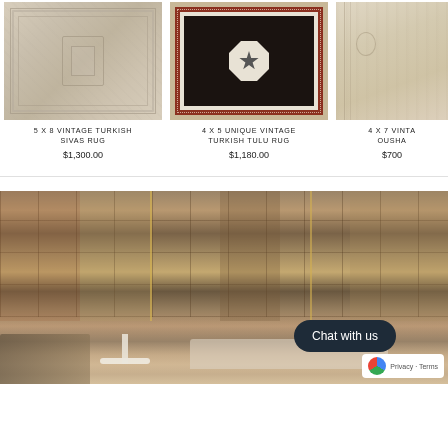[Figure (photo): 5x8 Vintage Turkish Sivas Rug product photo - beige/cream distressed rug with ornate floral medallion pattern]
5 X 8 VINTAGE TURKISH SIVAS RUG
$1,300.00
[Figure (photo): 4x5 Unique Vintage Turkish Tulu Rug product photo - dark navy/black rug with geometric octagon star medallion and red border]
4 X 5 UNIQUE VINTAGE TURKISH TULU RUG
$1,180.00
[Figure (photo): 4x7 Vintage Oushak rug product photo - partially visible, light beige/cream rug]
4 X 7 VINTA... OUSHA...
$700...
[Figure (photo): Interior store photo showing a showroom wall covered floor-to-ceiling with vintage patchwork rugs in earthy tones, with furniture including a white pedestal table, sofa, and rolled rugs]
Chat with us
Privacy · Terms